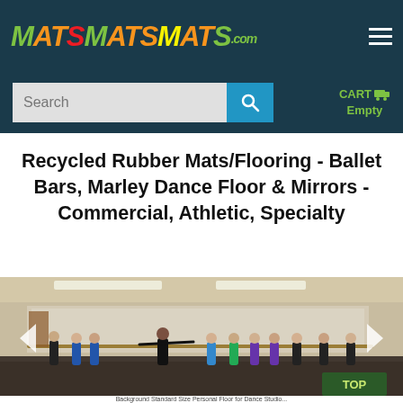MATSMATSMATS.com
Search  CART Empty
Recycled Rubber Mats/Flooring - Ballet Bars, Marley Dance Floor & Mirrors - Commercial, Athletic, Specialty
[Figure (photo): Dance studio with many students in ballet class, instructor in center demonstrating pose at ballet barre, large mirrors on back wall, fluorescent lighting on ceiling. Navigation arrows on left and right. TOP button bottom right.]
Background Standard Size Personal Floor for Dance Studio...